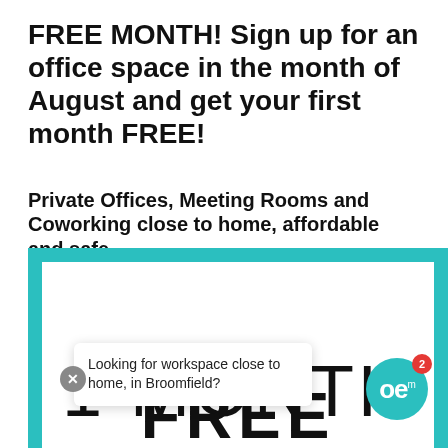FREE MONTH! Sign up for an office space in the month of August and get your first month FREE!
Private Offices, Meeting Rooms and Coworking close to home, affordable and safe.
[Figure (infographic): Teal-bordered white panel showing '1 MONTH FREE' in large text, with a tooltip overlay reading 'Looking for workspace close to home, in Broomfield?' and an 'oe' badge with notification count 2 in bottom right.]